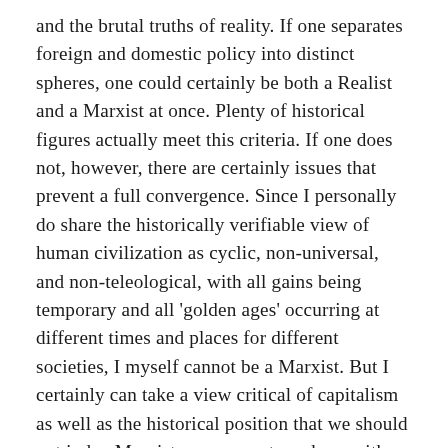and the brutal truths of reality. If one separates foreign and domestic policy into distinct spheres, one could certainly be both a Realist and a Marxist at once. Plenty of historical figures actually meet this criteria. If one does not, however, there are certainly issues that prevent a full convergence. Since I personally do share the historically verifiable view of human civilization as cyclic, non-universal, and non-teleological, with all gains being temporary and all 'golden ages' occurring at different times and places for different societies, I myself cannot be a Marxist. But I certainly can take a view critical of capitalism as well as the historical position that we should not judge Marxist governments on base with more or less of a critical eye than we judge our own...something most in the west are conditioned to do early on by a selective reading of history.